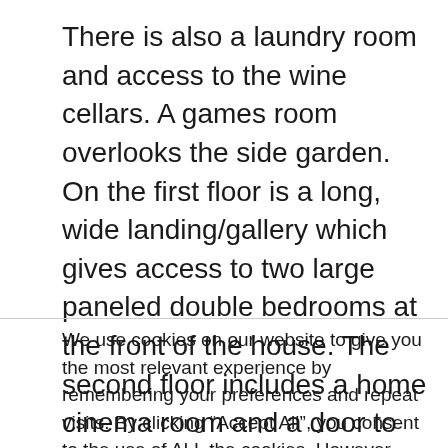There is also a laundry room and access to the wine cellars. A games room overlooks the side garden. On the first floor is a long, wide landing/gallery which gives access to two large paneled double bedrooms at the front of the house. The second floor includes a home cinema room and a door to the raised terrace – this was formerly a chapel. The master bedroom suite overlooks the
We use cookies on our website to give you the most relevant experience by remembering your preferences and repeat visits. By clicking “Accept All”, you consent to the use of ALL the cookies. However, you may visit "Cookie Settings" to provide a controlled consent.
Cookie Settings | Accept All